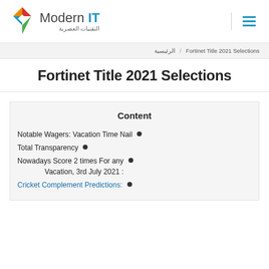[Figure (logo): Modern IT logo with colorful diamond shape and Arabic text النقنيات العصرية]
Fortinet Title 2021 Selections / الرئيسية
Fortinet Title 2021 Selections
Content
Notable Wagers: Vacation Time Nail
Total Transparency
Nowadays Score 2 times For any Vacation, 3rd July 2021:
Cricket Complement Predictions: